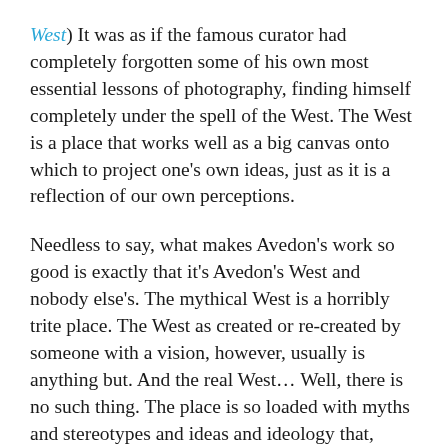West) It was as if the famous curator had completely forgotten some of his own most essential lessons of photography, finding himself completely under the spell of the West. The West is a place that works well as a big canvas onto which to project one's own ideas, just as it is a reflection of our own perceptions.
Needless to say, what makes Avedon's work so good is exactly that it's Avedon's West and nobody else's. The mythical West is a horribly trite place. The West as created or re-created by someone with a vision, however, usually is anything but. And the real West... Well, there is no such thing. The place is so loaded with myths and stereotypes and ideas and ideology that, geographically huge as it may be, there is no real West. There only is what you decide to make of it.
Tim Richmond's American West – depicted in Last Best